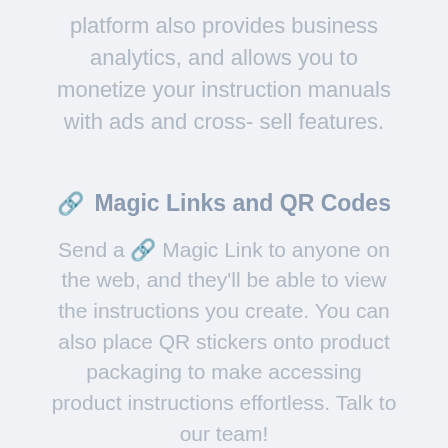platform also provides business analytics, and allows you to monetize your instruction manuals with ads and cross-sell features.
🔗 Magic Links and QR Codes
Send a 🔗 Magic Link to anyone on the web, and they'll be able to view the instructions you create. You can also place QR stickers onto product packaging to make accessing product instructions effortless. Talk to our team!